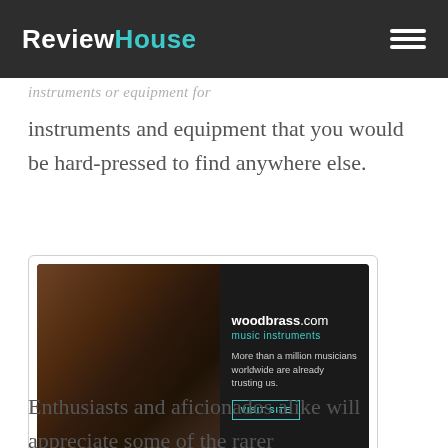ReviewHouse
instruments and equipment that you would be hard-pressed to find anywhere else.
[Figure (photo): Advertisement for woodbrass.com music instruments showing guitars against a brick wall. Text reads: 'woodbrass.com music instruments. More than a million musicians worldwide are already trusting us. VISIT SITE']
Enthusiasts and aficionados alike will appreciate some of the rarer